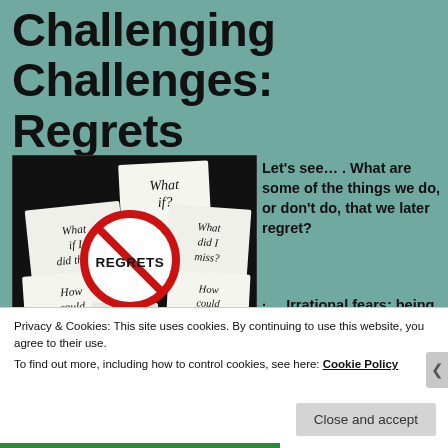Challenging Challenges: Regrets
[Figure (illustration): A collage of sticky notes on a black background with handwritten questions: 'What if?', 'What if I did that?', 'What did I miss?', 'How could I do that?', 'Why did...?', 'How could this happen?' — centered around a red 'no' symbol circle with the word REGRETS inside.]
Let's see… . What are some of the things we do, or don't do, that we later regret?
· Irrational fears; being afraid of
Privacy & Cookies: This site uses cookies. By continuing to use this website, you agree to their use.
To find out more, including how to control cookies, see here: Cookie Policy